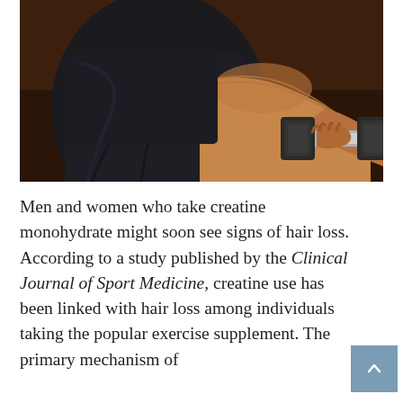[Figure (photo): A muscular person in a black shirt holding a dumbbell, photographed against a dark brown background. Only the torso and arm holding the weight are visible.]
Men and women who take creatine monohydrate might soon see signs of hair loss. According to a study published by the Clinical Journal of Sport Medicine, creatine use has been linked with hair loss among individuals taking the popular exercise supplement. The primary mechanism of